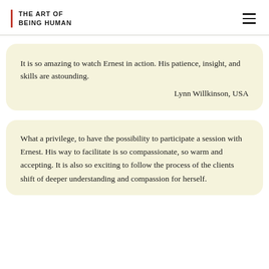THE ART OF BEING HUMAN
It is so amazing to watch Ernest in action. His patience, insight, and skills are astounding.

Lynn Willkinson, USA
What a privilege, to have the possibility to participate a session with Ernest. His way to facilitate is so compassionate, so warm and accepting. It is also so exciting to follow the process of the clients shift of deeper understanding and compassion for herself.